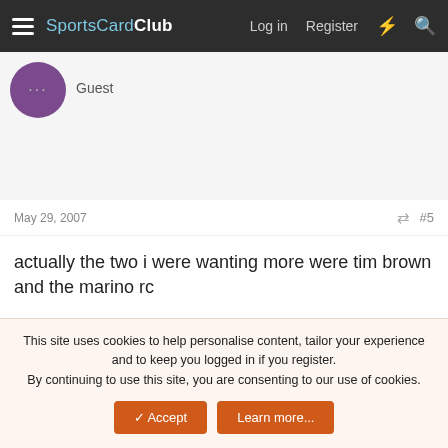SportsCardClub — Log in  Register
Guest
May 29, 2007  #5
actually the two i were wanting more were tim brown and the marino rc
Reply
rexvos
Bench Warmer
May 29, 2007  #6
This site uses cookies to help personalise content, tailor your experience and to keep you logged in if you register.
By continuing to use this site, you are consenting to our use of cookies.